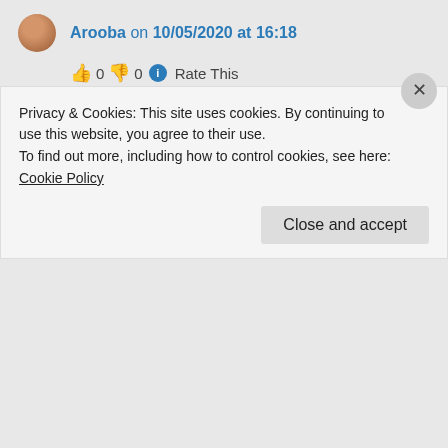Arooba on 10/05/2020 at 16:18
👍 0 👎 0 ℹ Rate This
No problem didi 🙂 Thanks for your kind words ❤ stay blessed
★ Liked by 1 person
Log in to Reply
Privacy & Cookies: This site uses cookies. By continuing to use this website, you agree to their use.
To find out more, including how to control cookies, see here: Cookie Policy
Close and accept